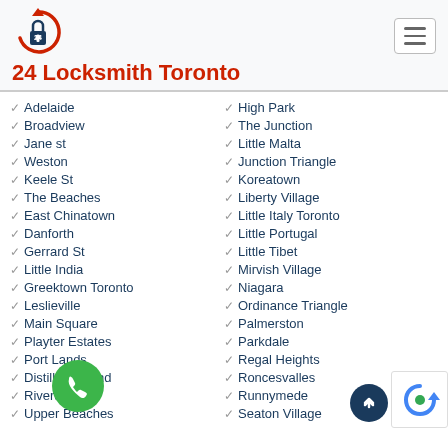[Figure (logo): Circular arrow logo with a padlock in the center labeled '24']
24 Locksmith Toronto
Adelaide
Broadview
Jane st
Weston
Keele St
The Beaches
East Chinatown
Danforth
Gerrard St
Little India
Greektown Toronto
Leslieville
Main Square
Playter Estates
Port Lands
Distillery Island
Riverdale
Upper Beaches
High Park
The Junction
Little Malta
Junction Triangle
Koreatown
Liberty Village
Little Italy Toronto
Little Portugal
Little Tibet
Mirvish Village
Niagara
Ordinance Triangle
Palmerston
Parkdale
Regal Heights
Roncesvalles
Runnymede
Seaton Village